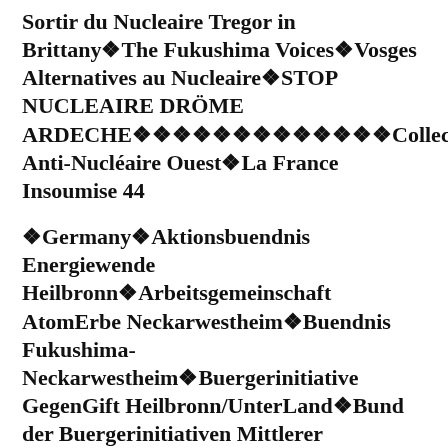Sortir du Nucleaire Tregor in Brittany❖The Fukushima Voices❖Vosges Alternatives au Nucleaire❖STOP NUCLEAIRE DRÖME ARDECHE❖❖❖❖❖❖❖❖❖❖❖❖❖Collectif Anti-Nucléaire Ouest❖La France Insoumise 44
❖Germany❖Aktionsbuendnis Energiewende Heilbronn❖Arbeitsgemeinschaft AtomErbe Neckarwestheim❖Buendnis Fukushima-Neckarwestheim❖Buergerinitiative GegenGift Heilbronn/UnterLand❖Bund der Buergerinitiativen Mittlerer Neckar❖Bundesverband Bürgerinitiativen Umweltschutz❖❖❖❖❖ ❖❖❖❖❖ ❖❖❖❖❖❖❖❖Sayonara Nukes Berlin❖Anti Atom Berlin❖ICHIMOKU